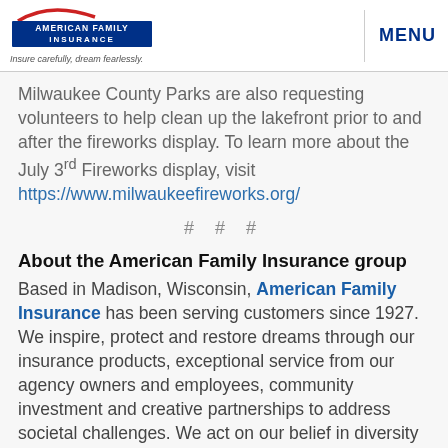American Family Insurance — Insure carefully, dream fearlessly. | MENU
Milwaukee County Parks are also requesting volunteers to help clean up the lakefront prior to and after the fireworks display. To learn more about the July 3rd Fireworks display, visit https://www.milwaukeefireworks.org/
# # #
About the American Family Insurance group
Based in Madison, Wisconsin, American Family Insurance has been serving customers since 1927. We inspire, protect and restore dreams through our insurance products, exceptional service from our agency owners and employees, community investment and creative partnerships to address societal challenges. We act on our belief in diversity and inclusion because...